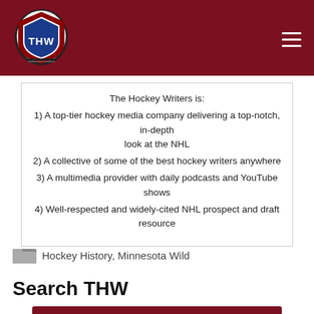THW - The Hockey Writers
The Hockey Writers is:
1) A top-tier hockey media company delivering a top-notch, in-depth look at the NHL
2) A collective of some of the best hockey writers anywhere
3) A multimedia provider with daily podcasts and YouTube shows
4) Well-respected and widely-cited NHL prospect and draft resource
Hockey History, Minnesota Wild
Search THW